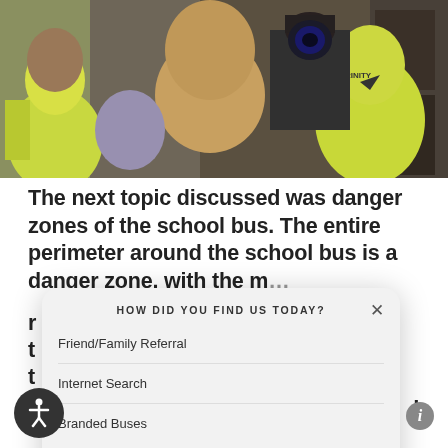[Figure (photo): People wearing high-visibility yellow jackets gathered around equipment indoors, viewed from behind.]
The next topic discussed was danger zones of the school bus. The entire perimeter around the school bus is a danger zone, with the m... r... t... t... w... b... f... d...
HOW DID YOU FIND US TODAY?
Friend/Family Referral
Internet Search
Branded Buses
Other (please specify)
SUBMIT